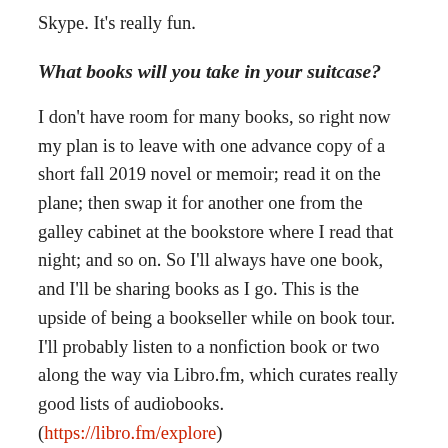Skype. It's really fun.
What books will you take in your suitcase?
I don't have room for many books, so right now my plan is to leave with one advance copy of a short fall 2019 novel or memoir; read it on the plane; then swap it for another one from the galley cabinet at the bookstore where I read that night; and so on. So I'll always have one book, and I'll be sharing books as I go. This is the upside of being a bookseller while on book tour. I'll probably listen to a nonfiction book or two along the way via Libro.fm, which curates really good lists of audiobooks. (https://libro.fm/explore)